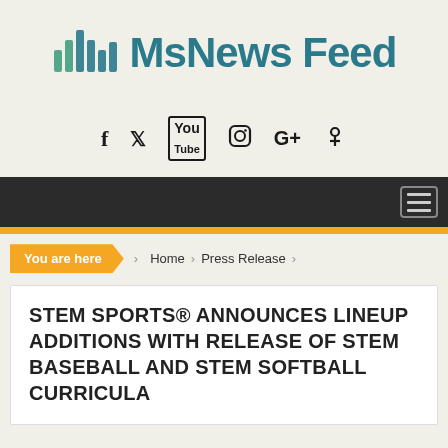[Figure (logo): MsNews Feed logo with stylized bar-chart/audio-wave icon in teal/green and bold teal text 'MsNews Feed']
[Figure (infographic): Social media icons row: Facebook (f), Twitter (bird), YouTube (play box), Instagram (camera), Google+ (G+), Pinterest (P)]
Navigation bar with hamburger menu icon on dark background
You are here  Home  Press Release
STEM SPORTS® ANNOUNCES LINEUP ADDITIONS WITH RELEASE OF STEM BASEBALL AND STEM SOFTBALL CURRICULA